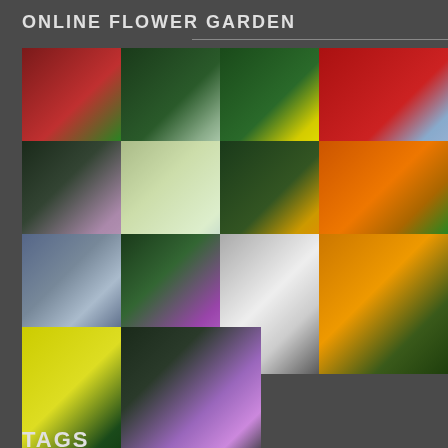ONLINE FLOWER GARDEN
[Figure (photo): Grid of 14 flower photos arranged in 4 columns showing various flowers including red, white, yellow, orange, purple, and cream colored flowers against green foliage backgrounds]
TAGS
Annual
Any Soil
Asia
Australia
Autumn
Bees
Blue
Brazil
Bulb
China
Climber
Creamy White
Deciduous
Drought Tolerant